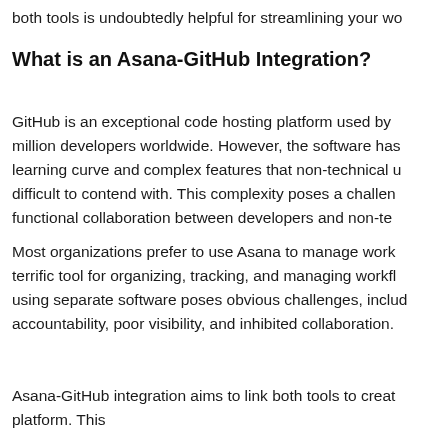both tools is undoubtedly helpful for streamlining your wo
What is an Asana-GitHub Integration?
GitHub is an exceptional code hosting platform used by million developers worldwide. However, the software has learning curve and complex features that non-technical u difficult to contend with. This complexity poses a challen functional collaboration between developers and non-te
Most organizations prefer to use Asana to manage work terrific tool for organizing, tracking, and managing workfl using separate software poses obvious challenges, includ accountability, poor visibility, and inhibited collaboration.
Asana-GitHub integration aims to link both tools to creat platform. This